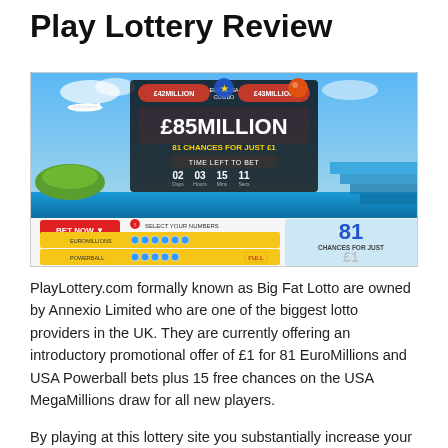Play Lottery Review
[Figure (screenshot): Screenshot of PlayLottery.com website showing a £85MILLION Euro-USA Combo promotion banner with £42MILLION and £43MILLION individual jackpots, 81 chances for just £1, a countdown timer showing 02 days 03 hours 15 mins 11 secs, a BET NOW button, a number selection interface with yellow grid rows, and a '81 CHANCES FOR JUST £1' badge on the right.]
PlayLottery.com formally known as Big Fat Lotto are owned by Annexio Limited who are one of the biggest lotto providers in the UK. They are currently offering an introductory promotional offer of £1 for 81 EuroMillions and USA Powerball bets plus 15 free chances on the USA MegaMillions draw for all new players.
By playing at this lottery site you substantially increase your